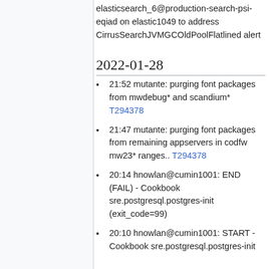elasticsearch_6@production-search-psi-eqiad on elastic1049 to address CirrusSearchJVMGCOldPoolFlatlined alert
2022-01-28
21:52 mutante: purging font packages from mwdebug* and scandium* T294378
21:47 mutante: purging font packages from remaining appservers in codfw mw23* ranges.. T294378
20:14 hnowlan@cumin1001: END (FAIL) - Cookbook sre.postgresql.postgres-init (exit_code=99)
20:10 hnowlan@cumin1001: START - Cookbook sre.postgresql.postgres-init